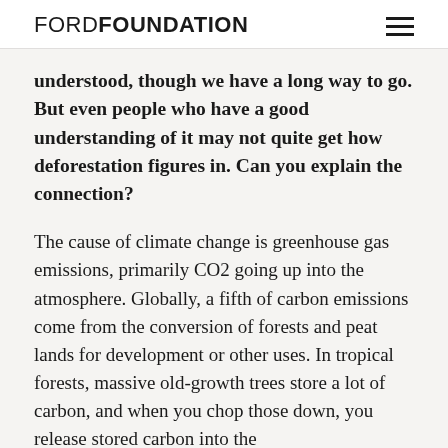FORD FOUNDATION
understood, though we have a long way to go. But even people who have a good understanding of it may not quite get how deforestation figures in. Can you explain the connection?
The cause of climate change is greenhouse gas emissions, primarily CO2 going up into the atmosphere. Globally, a fifth of carbon emissions come from the conversion of forests and peat lands for development or other uses. In tropical forests, massive old-growth trees store a lot of carbon, and when you chop those down, you release stored carbon into the